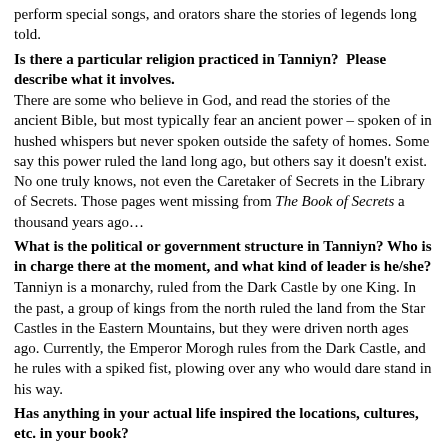perform special songs, and orators share the stories of legends long told.
Is there a particular religion practiced in Tanniyn?  Please describe what it involves.
There are some who believe in God, and read the stories of the ancient Bible, but most typically fear an ancient power – spoken of in hushed whispers but never spoken outside the safety of homes. Some say this power ruled the land long ago, but others say it doesn't exist. No one truly knows, not even the Caretaker of Secrets in the Library of Secrets. Those pages went missing from The Book of Secrets a thousand years ago…
What is the political or government structure in Tanniyn? Who is in charge there at the moment, and what kind of leader is he/she?
Tanniyn is a monarchy, ruled from the Dark Castle by one King. In the past, a group of kings from the north ruled the land from the Star Castles in the Eastern Mountains, but they were driven north ages ago. Currently, the Emperor Morogh rules from the Dark Castle, and he rules with a spiked fist, plowing over any who would dare stand in his way.
Has anything in your actual life inspired the locations, cultures, etc. in your book?
I have always loved world travel, and so far I only have two continents left to visit: Antartica and Australia. I don't know if I'll ever make it to the South Pole, but Australia is on my bucket list.